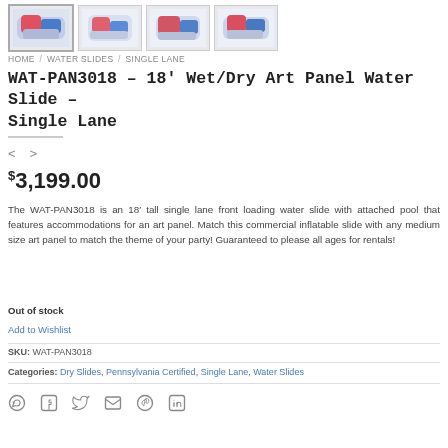[Figure (photo): Four thumbnail images of an inflatable water slide product (WAT-PAN3018), showing different angles of a colorful red, blue, and pink inflatable water slide.]
HOME / WATER SLIDES / SINGLE LANE
WAT-PAN3018 – 18′ Wet/Dry Art Panel Water Slide – Single Lane
< >
$3,199.00
The WAT-PAN3018 is an 18′ tall single lane front loading water slide with attached pool that features accommodations for an art panel. Match this commercial inflatable slide with any medium size art panel to match the theme of your party! Guaranteed to please all ages for rentals!
Out of stock
Add to Wishlist
SKU: WAT-PAN3018
Categories: Dry Slides, Pennsylvania Certified, Single Lane, Water Slides
[Figure (infographic): Social sharing icons: WhatsApp, Facebook, Twitter, Email, Pinterest, LinkedIn]